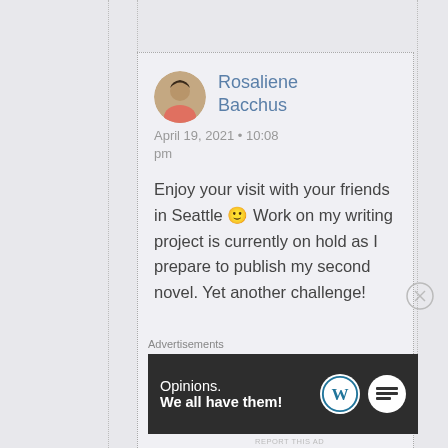Rosaliene Bacchus
April 19, 2021 • 10:08 pm
Enjoy your visit with your friends in Seattle 🙂 Work on my writing project is currently on hold as I prepare to publish my second novel. Yet another challenge!
Advertisements
[Figure (screenshot): Dark advertisement banner reading 'Opinions. We all have them!' with WordPress logo and badge logo on the right]
REPORT THIS AD